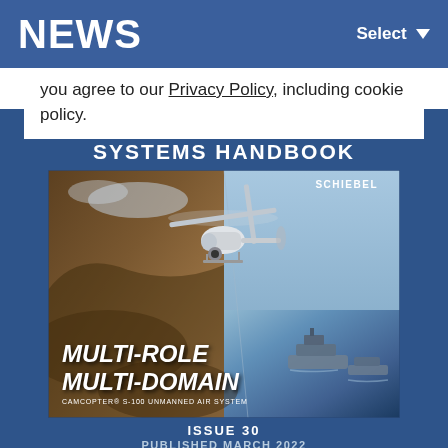NEWS
you agree to our Privacy Policy, including cookie policy.
[Figure (illustration): Cover of Military Uncrewed Systems Handbook Issue 30, published March 2022. Features a Schiebel CAMCOPTER S-100 unmanned air system in flight with the text MULTI-ROLE MULTI-DOMAIN. Background shows aerial and naval scenes. Published by Shephard Media.]
ISSUE 30
PUBLISHED MARCH 2022